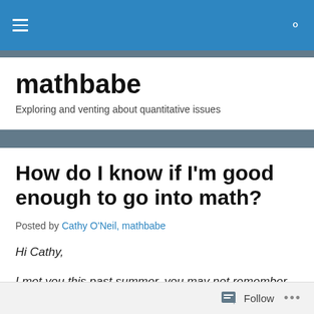mathbabe — Exploring and venting about quantitative issues
How do I know if I'm good enough to go into math?
Posted by Cathy O'Neil, mathbabe
Hi Cathy,
I met you this past summer, you may not remember me. I have a question.